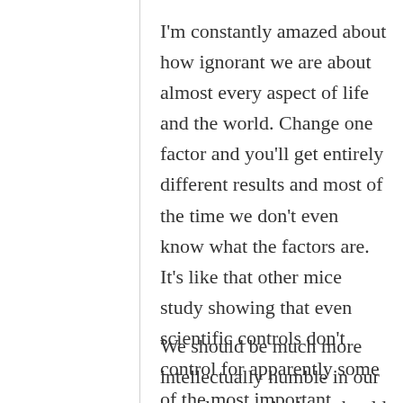I'm constantly amazed about how ignorant we are about almost every aspect of life and the world. Change one factor and you'll get entirely different results and most of the time we don't even know what the factors are. It's like that other mice study showing that even scientific controls don't control for apparently some of the most important factors that can dramatically alter results.
We should be much more intellectually humble in our speculations. And we should assume that almost everything